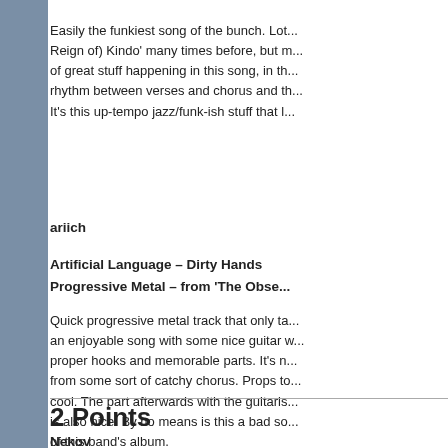Easily the funkiest song of the bunch. Lot... Reign of) Kindo' many times before, but m... of great stuff happening in this song, in th... rhythm between verses and chorus and th... It's this up-tempo jazz/funk-ish stuff that l...
ariich
Artificial Language – Dirty Hands
Progressive Metal – from 'The Obse...
Quick progressive metal track that only ta... an enjoyable song with some nice guitar w... proper hooks and memorable parts. It's n... from some sort of catchy chorus. Props to... cool. The part afterwards with the guitaris... is also nice. By no means is this a bad so... of this band's album.
2 Points
Nekov